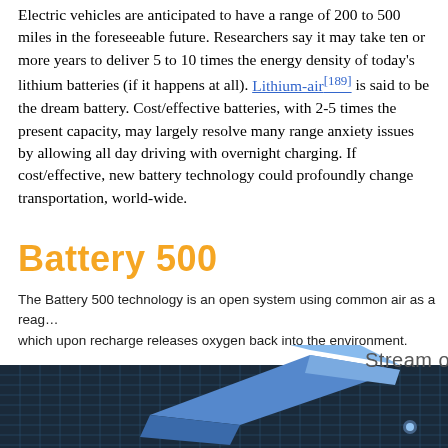Electric vehicles are anticipated to have a range of 200 to 500 miles in the foreseeable future. Researchers say it may take ten or more years to deliver 5 to 10 times the energy density of today's lithium batteries (if it happens at all). Lithium-air[189] is said to be the dream battery. Cost/effective batteries, with 2-5 times the present capacity, may largely resolve many range anxiety issues by allowing all day driving with overnight charging. If cost/effective, new battery technology could profoundly change transportation, world-wide.
Battery 500
The Battery 500 technology is an open system using common air as a reagent which upon recharge releases oxygen back into the environment.
[Figure (illustration): 3D rendering of Battery 500 technology diagram showing blue geometric arrow shapes over a dark grid surface, with text 'Stream o' partially visible on the right side.]